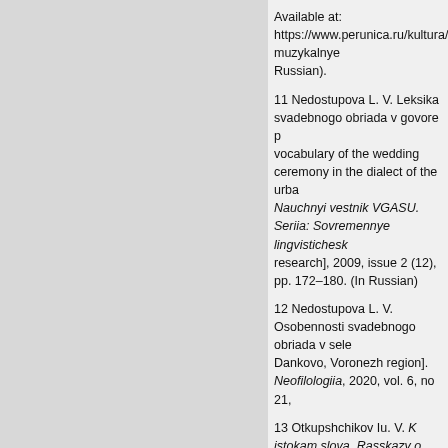Available at: https://www.perunica.ru/kultura/9653-muzykalnye... Russian).
11 Nedostupova L. V. Leksika svadebnogo obriada v govore p... vocabulary of the wedding ceremony in the dialect of the urba... Nauchnyi vestnik VGASU. Seriia: Sovremennye lingvisticheska... research], 2009, issue 2 (12), pp. 172–180. (In Russian)
12 Nedostupova L. V. Osobennosti svadebnogo obriada v sele... Dankovo, Voronezh region]. Neofilologiia, 2020, vol. 6, no 21,
13 Otkupshchikov Iu. V. K istokam slova. Rasskazy o nauke e... Petersburg, Avalon, Azbuka-Klassika Publ., 2000. 356 p. (In R
14 Potebnia A. A. Mysl' i iazyk [Thought and Language]. Kiev,
15 Slovar' voronezhskikh govorov [Dictionary of Voronezh dial... Zhuchok. 2007-. 307 p. Vol. 3: Z-I. 2019-. 503 p. (In Russian)
16 Dal' V. I. Tolkovyi slovar' zhivogo velikorusskogo iazyka: v 4... OLMA Media Grupp Publ., 2008. Vol. 1. 640 p. Vol. 2. 672 p. V
17 Efremova T. F. Novyi slovar' russkogo iazyka. Tolkovo-obra... Moscow, Russkii iazyk Publ., 2000. Available at: https://lexicse...